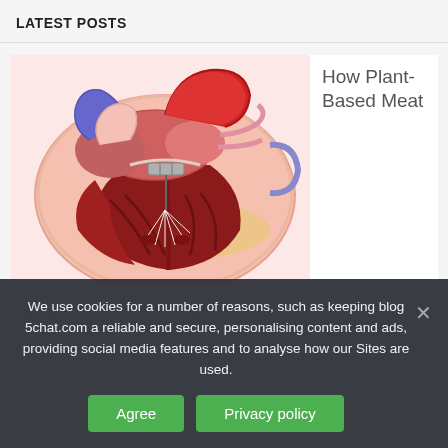LATEST POSTS
[Figure (illustration): Cross-sectional anatomical illustration of the human heart showing internal chambers, valves, cardiac muscle tissue, chordae tendineae, and major blood vessels (aorta in red, pulmonary vessels in blue/pink).]
How Plant-Based Meat
Substitutes Reduce Cardiovascular Disease?
We use cookies for a number of reasons, such as keeping blog 5chat.com a reliable and secure, personalising content and ads, providing social media features and to analyse how our Sites are used.
Agree
Privacy policy